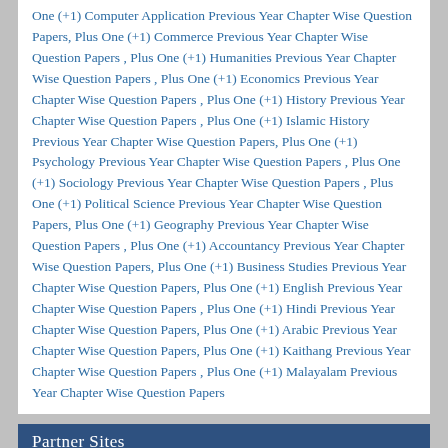One (+1) Computer Application Previous Year Chapter Wise Question Papers, Plus One (+1) Commerce Previous Year Chapter Wise Question Papers , Plus One (+1) Humanities Previous Year Chapter Wise Question Papers , Plus One (+1) Economics Previous Year Chapter Wise Question Papers , Plus One (+1) History Previous Year Chapter Wise Question Papers , Plus One (+1) Islamic History Previous Year Chapter Wise Question Papers, Plus One (+1) Psychology Previous Year Chapter Wise Question Papers , Plus One (+1) Sociology Previous Year Chapter Wise Question Papers , Plus One (+1) Political Science Previous Year Chapter Wise Question Papers, Plus One (+1) Geography Previous Year Chapter Wise Question Papers , Plus One (+1) Accountancy Previous Year Chapter Wise Question Papers, Plus One (+1) Business Studies Previous Year Chapter Wise Question Papers, Plus One (+1) English Previous Year Chapter Wise Question Papers , Plus One (+1) Hindi Previous Year Chapter Wise Question Papers, Plus One (+1) Arabic Previous Year Chapter Wise Question Papers, Plus One (+1) Kaithang Previous Year Chapter Wise Question Papers , Plus One (+1) Malayalam Previous Year Chapter Wise Question Papers
Partner Sites
Hsslive Guru